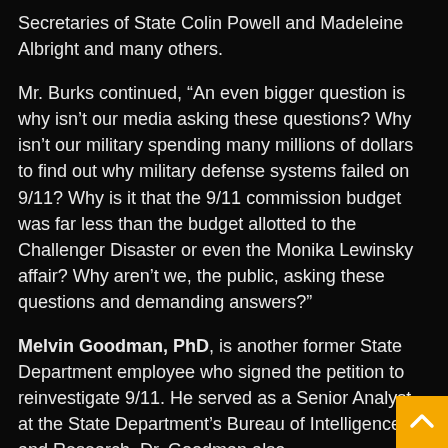Secretaries of State Colin Powell and Madeleine Albright and many others.
Mr. Burks continued, “An even bigger question is why isn’t our media asking these questions? Why isn’t our military spending many millions of dollars to find out why military defense systems failed on 9/11? Why is it that the 9/11 commission budget was far less than the budget allotted to the Challenger Disaster or even the Monika Lewinsky affair? Why aren’t we, the public, asking these questions and demanding answers?”
Melvin Goodman, PhD, is another former State Department employee who signed the petition to reinvestigate 9/11. He served as a Senior Analyst at the State Department’s Bureau of Intelligence and Research. Dr. Goodman also